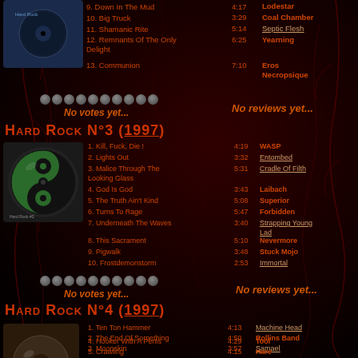[Figure (photo): CD album cover photo, blue/dark disk, top left corner partial]
9. Down In The Mud   4:17   Lodestar
10. Big Truck   3:29   Coal Chamber
11. Shamanic Rite   5:14   Septic Flesh
12. Remnants Of The Only Delight   6:25   Yearning
13. Communion   7:10   Eros Necropsique
No votes yet...
No reviews yet...
Hard Rock N°3 (1997)
[Figure (photo): CD album cover with green yin-yang design, Hard Rock N°3]
1. Kill, Fuck, Die !   4:19   WASP
2. Lights Out   3:32   Entombed
3. Malice Through The Looking Glass   5:31   Cradle Of Filth
4. God Is God   3:43   Laibach
5. The Truth Ain't Kind   5:08   Superior
6. Turns To Rage   5:47   Forbidden
7. Underneath The Waves   3:40   Strapping Young Lad
8. This Sacrament   5:10   Nevermore
9. Pigwalk   3:48   Stuck Mojo
10. Frostdemonstorm   2:53   Immortal
No votes yet...
No reviews yet...
Hard Rock N°4 (1997)
1. Ten Ton Hammer   4:13   Machine Head
2. The End Of Something   4:50   Rollins Band
3. Moonskin   3:57   Samael
4. Hooker With A Penis   4:29   Tool
5. Crawling   4:15   Hare
[Figure (photo): Partial CD album cover at bottom left, Hard Rock N°4]